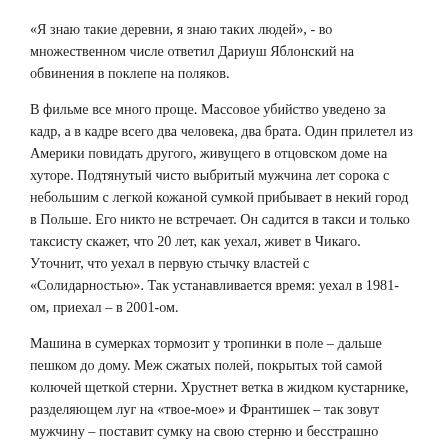«Я знаю такие деревни, я знаю таких людей», - во множественном числе ответил Дариуш Яблонский на обвинения в поклепе на поляков.
В фильме все много проще. Массовое убийство уведено за кадр, а в кадре всего два человека, два брата. Один прилетел из Америки повидать другого, живущего в отцовском доме на хуторе. Подтянутый чисто выбритый мужчина лет сорока с небольшим с легкой кожаной сумкой прибывает в некий город в Польше. Его никто не встречает. Он садится в такси и только таксисту скажет, что 20 лет, как уехал, живет в Чикаго. Уточнит, что уехал в первую стычку властей с «Солидарностью». Так устанавливается время: уехал в 1981-ом, приехал – в 2001-ом.
Машина в сумерках тормозит у тропинки в поле – дальше пешком до дому. Меж сжатых полей, покрытых той самой колючей щеткой стерни. Хрустнет ветка в жидком кустарнике, разделяющем луг на «твое-мое» и Франтишек – так зовут мужчину – поставит сумку на свою стерню и бесстрашно ринется по своей земле в кусты: - Эй, кто там?
Нет никого. Только сумка исчезла. Значит, был кто-то… Кто?
Он войдет в старый дом налегке – даже без сумки. Встретит его